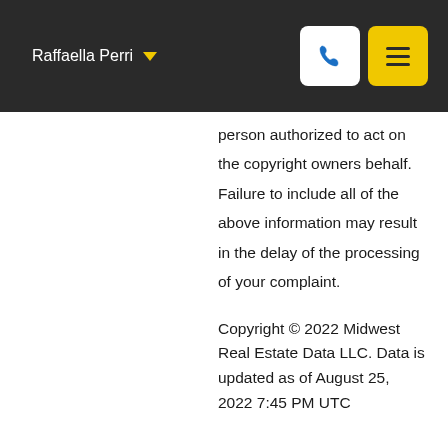Raffaella Perri
person authorized to act on the copyright owners behalf. Failure to include all of the above information may result in the delay of the processing of your complaint.
Copyright © 2022 Midwest Real Estate Data LLC. Data is updated as of August 25, 2022 7:45 PM UTC